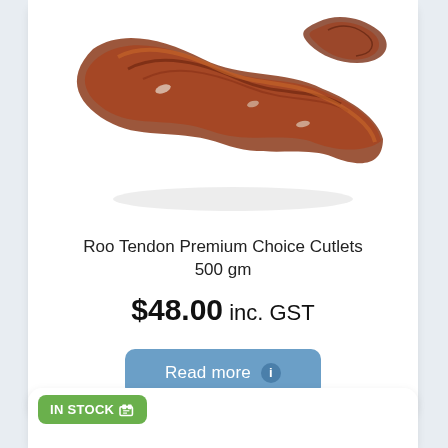[Figure (photo): Photo of dried kangaroo tendon cutlets, dark reddish-brown twisted pieces on white background]
Roo Tendon Premium Choice Cutlets 500 gm
$48.00 inc. GST
Read more
IN STOCK